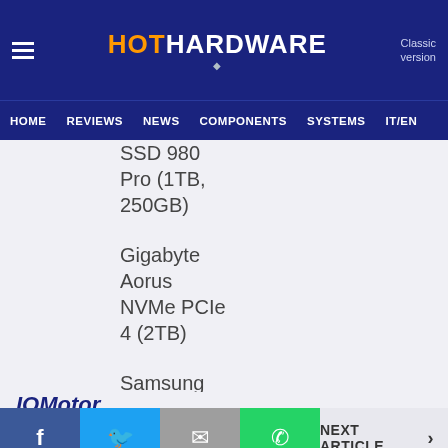HotHardware — Classic version | HOME REVIEWS NEWS COMPONENTS SYSTEMS IT/EN
SSD 980 Pro (1TB, 250GB)
Gigabyte Aorus NVMe PCIe 4 (2TB)
Samsung SSD 970 Pro (512GB)
IOMotor
NEXT ARTICLE >